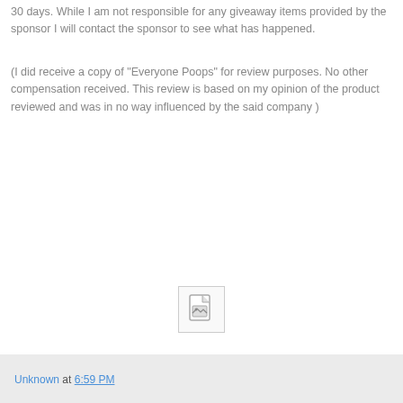30 days. While I am not responsible for any giveaway items provided by the sponsor I will contact the sponsor to see what has happened.
(I did receive a copy of "Everyone Poops" for review purposes. No other compensation received. This review is based on my opinion of the product reviewed and was in no way influenced by the said company )
[Figure (other): Broken image placeholder icon — a small document/image icon in a bordered box]
Unknown at 6:59 PM